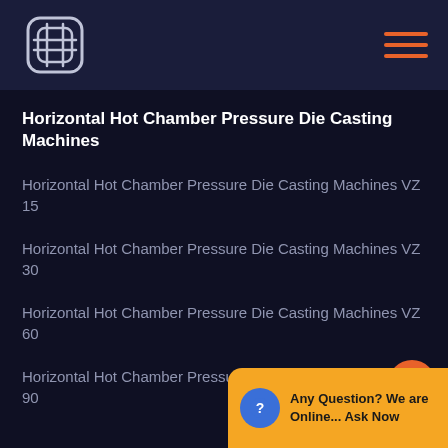Horizontal Hot Chamber Pressure Die Casting Machines — Navigation Header
Horizontal Hot Chamber Pressure Die Casting Machines
Horizontal Hot Chamber Pressure Die Casting Machines VZ 15
Horizontal Hot Chamber Pressure Die Casting Machines VZ 30
Horizontal Hot Chamber Pressure Die Casting Machines VZ 60
Horizontal Hot Chamber Pressure Die Casting Machines VZ 90
Any Question? We are Online... Ask Now